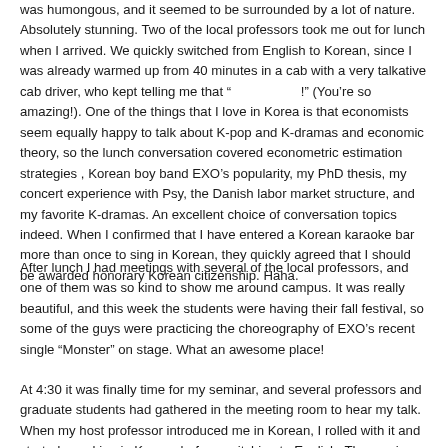was humongous, and it seemed to be surrounded by a lot of nature. Absolutely stunning. Two of the local professors took me out for lunch when I arrived. We quickly switched from English to Korean, since I was already warmed up from 40 minutes in a cab with a very talkative cab driver, who kept telling me that “                   !” (You’re so amazing!). One of the things that I love in Korea is that economists seem equally happy to talk about K-pop and K-dramas and economic theory, so the lunch conversation covered econometric estimation strategies , Korean boy band EXO’s popularity, my PhD thesis, my concert experience with Psy, the Danish labor market structure, and my favorite K-dramas. An excellent choice of conversation topics indeed. When I confirmed that I have entered a Korean karaoke bar more than once to sing in Korean, they quickly agreed that I should be awarded honorary Korean citizenship. Haha.
After lunch I had meetings with several of the local professors, and one of them was so kind to show me around campus. It was really beautiful, and this week the students were having their fall festival, so some of the guys were practicing the choreography of EXO’s recent single “Monster” on stage. What an awesome place!
At 4:30 it was finally time for my seminar, and several professors and graduate students had gathered in the meeting room to hear my talk. When my host professor introduced me in Korean, I rolled with it and started speaking in Korean before switching to English. The seminar